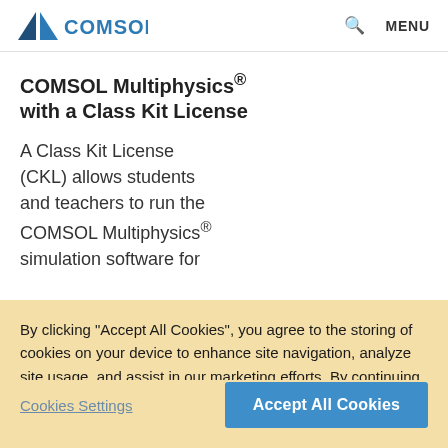COMSOL  MENU
COMSOL Multiphysics® with a Class Kit License
A Class Kit License (CKL) allows students and teachers to run the COMSOL Multiphysics® simulation software for
By clicking “Accept All Cookies”, you agree to the storing of cookies on your device to enhance site navigation, analyze site usage, and assist in our marketing efforts. By continuing to use our site, you agree to our use of cookies.
Cookies Settings
Accept All Cookies